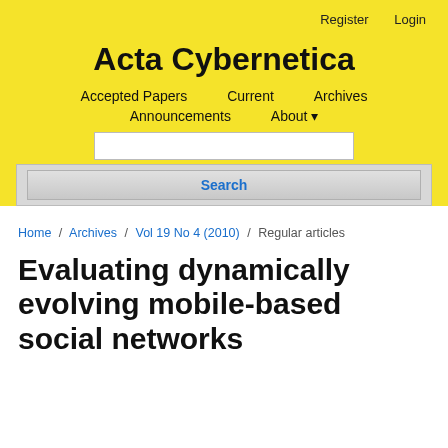Register   Login
Acta Cybernetica
Accepted Papers   Current   Archives
Announcements   About ▾
Search
Home / Archives / Vol 19 No 4 (2010) / Regular articles
Evaluating dynamically evolving mobile-based social networks